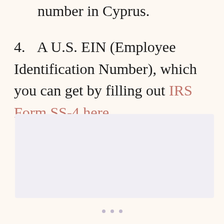number in Cyprus.
4. A U.S. EIN (Employee Identification Number), which you can get by filling out IRS Form SS-4 here.
[Figure (other): A light purple/lavender shaded rectangular box, likely a placeholder image or screenshot area.]